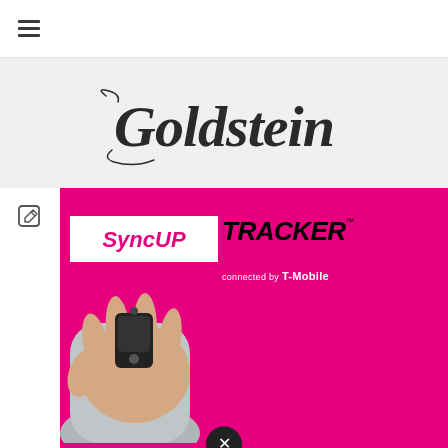Navigation menu (hamburger icon)
[Figure (logo): Goldstein script/cursive logo in dark charcoal on light grey background]
[Figure (photo): SyncUP TRACKER advertisement connected by T-Mobile, showing a hand holding a small black GPS tracker device against a magenta/pink background. White rounded rectangle contains 'SyncUP' in magenta italic and 'TRACKER' in bold black italic with TM mark. Text below reads 'connected by T-Mobile'. Edit icon overlay top-left. Close (X) button at bottom center.]